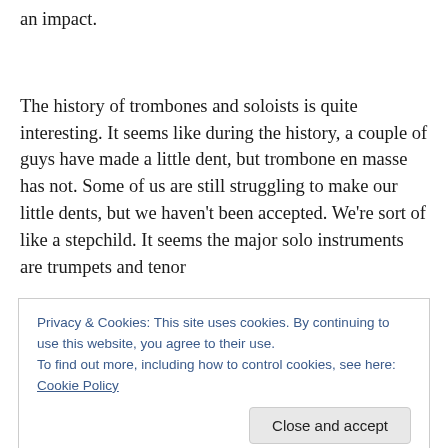an impact.
The history of trombones and soloists is quite interesting. It seems like during the history, a couple of guys have made a little dent, but trombone en masse has not. Some of us are still struggling to make our little dents, but we haven't been accepted. We're sort of like a stepchild. It seems the major solo instruments are trumpets and tenor
Privacy & Cookies: This site uses cookies. By continuing to use this website, you agree to their use.
To find out more, including how to control cookies, see here: Cookie Policy
the Swing Era in the 30s. Then as the histories go, during